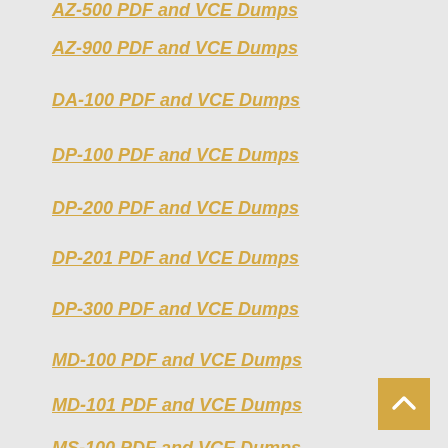AZ-500 PDF and VCE Dumps
AZ-900 PDF and VCE Dumps
DA-100 PDF and VCE Dumps
DP-100 PDF and VCE Dumps
DP-200 PDF and VCE Dumps
DP-201 PDF and VCE Dumps
DP-300 PDF and VCE Dumps
MD-100 PDF and VCE Dumps
MD-101 PDF and VCE Dumps
MS-100 PDF and VCE Dumps
MS-101 PDF and VCE Dumps